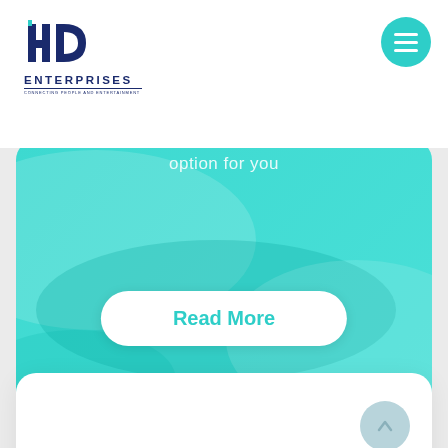[Figure (logo): HD Enterprises logo with stylized H and D icon above text ENTERPRISES with subtitle CONNECTING PEOPLE AND ENTERTAINMENT]
[Figure (other): Teal circular hamburger menu button with three white horizontal lines]
[Figure (illustration): Teal rounded card with wavy blob shapes and option for you text and Read More button]
option for you
Read More
[Figure (other): White rounded card with light blue circular up-arrow button]